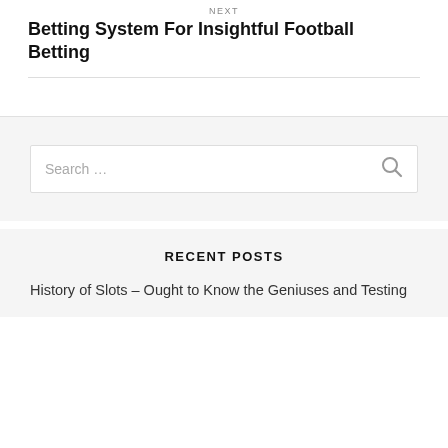NEXT
Betting System For Insightful Football Betting
[Figure (other): Search widget with text input box and search icon]
RECENT POSTS
History of Slots – Ought to Know the Geniuses and Testing